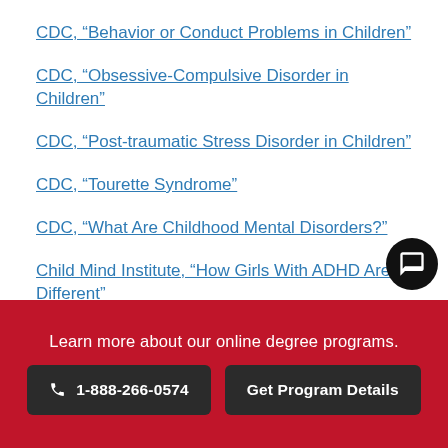CDC, “Behavior or Conduct Problems in Children”
CDC, “Obsessive-Compulsive Disorder in Children”
CDC, “Post-traumatic Stress Disorder in Children”
CDC, “Tourette Syndrome”
CDC, “What Are Childhood Mental Disorders?”
Child Mind Institute, “How Girls With ADHD Are Different”
Child Mind Institute, “2017 Children’s Mental Health Report”
Harvard Health, “Anxiety in children”
Learn more about our online degree programs.
1-888-266-0574
Get Program Details